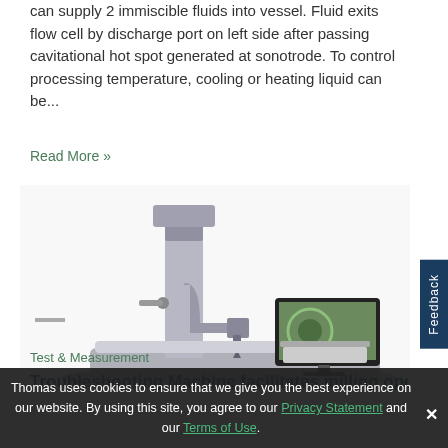can supply 2 immiscible fluids into vessel. Fluid exits flow cell by discharge port on left side after passing cavitational hot spot generated at sonotrode. To control processing temperature, cooling or heating liquid can be...
Read More »
[Figure (photo): 3D rendering of a laboratory ultrasonic processing instrument/sonotrode device on a platform, with a monitor displaying a mechanical component image, and a keyboard/laptop on the right side.]
Test & Measurement
Troubleshooting Machine facilitates milling operations...
Thomas uses cookies to ensure that we give you the best experience on our website. By using this site, you agree to our Privacy Statement and our Terms of Use.